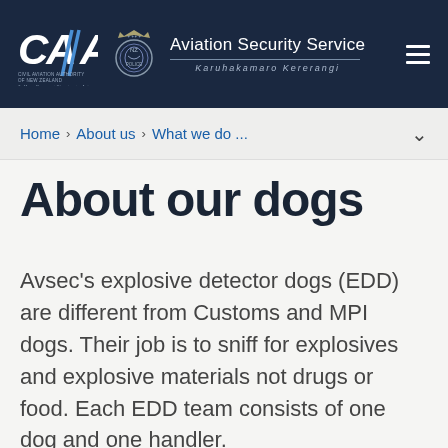[Figure (logo): CAA Civil Aviation Authority of New Zealand logo and Aviation Security Service Karuhakamaro Kererangi logo with police badge emblem, white text on dark navy background header]
Home > About us > What we do ...
About our dogs
Avsec's explosive detector dogs (EDD) are different from Customs and MPI dogs. Their job is to sniff for explosives and explosive materials not drugs or food. Each EDD team consists of one dog and one handler.